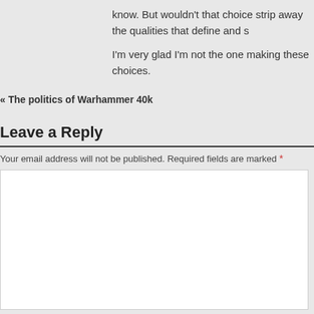know. But wouldn't that choice strip away the qualities that define and s
I'm very glad I'm not the one making these choices.
« The politics of Warhammer 40k
Leave a Reply
Your email address will not be published. Required fields are marked *